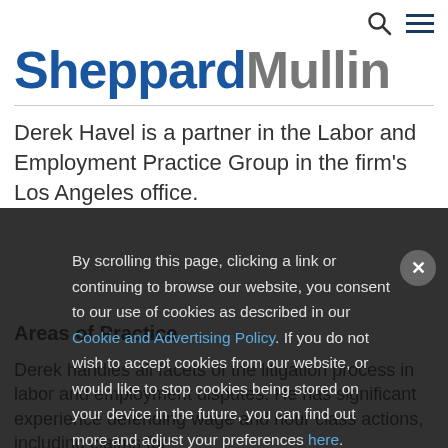Navigation icons: search and menu
SheppardMullin
Derek Havel is a partner in the Labor and Employment Practice Group in the firm's Los Angeles office.
Areas of Practice
Derek handles all facets of the litigation process in labor and employment disputes. He has significant experience defending wage and hour class actions, including claims for
By scrolling this page, clicking a link or continuing to browse our website, you consent to our use of cookies as described in our Cookie and Advertising Policy. If you do not wish to accept cookies from our website, or would like to stop cookies being stored on your device in the future, you can find out more and adjust your preferences here.